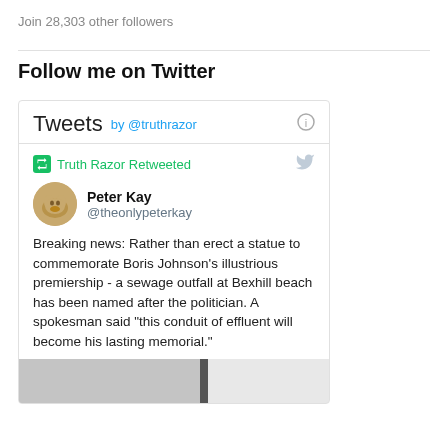Join 28,303 other followers
Follow me on Twitter
[Figure (screenshot): Embedded Twitter widget showing Tweets by @truthrazor. Contains a retweet by Truth Razor of a tweet by Peter Kay (@theonlypeterkay) reading: 'Breaking news: Rather than erect a statue to commemorate Boris Johnson's illustrious premiership - a sewage outfall at Bexhill beach has been named after the politician. A spokesman said “this conduit of effluent will become his lasting memorial.”'. A partial image strip appears at the bottom of the widget.]